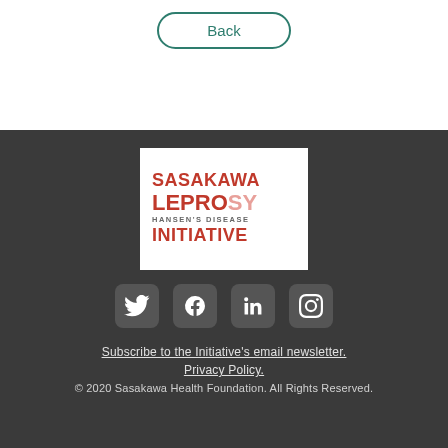Back
[Figure (logo): Sasakawa Leprosy Hansen's Disease Initiative logo — white background with red bold text reading SASAKAWA LEPROSY HANSEN'S DISEASE INITIATIVE]
[Figure (infographic): Social media icons: Twitter, Facebook, LinkedIn, Instagram — white icons on rounded dark square backgrounds]
Subscribe to the Initiative's email newsletter.
Privacy Policy.
© 2020 Sasakawa Health Foundation. All Rights Reserved.